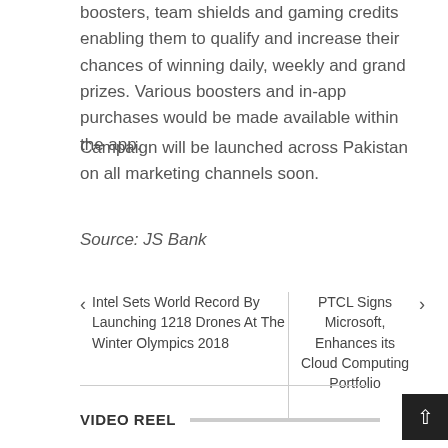boosters, team shields and gaming credits enabling them to qualify and increase their chances of winning daily, weekly and grand prizes. Various boosters and in-app purchases would be made available within the app.
Campaign will be launched across Pakistan on all marketing channels soon.
Source: JS Bank
Intel Sets World Record By Launching 1218 Drones At The Winter Olympics 2018
PTCL Signs Microsoft, Enhances its Cloud Computing Portfolio
VIDEO REEL